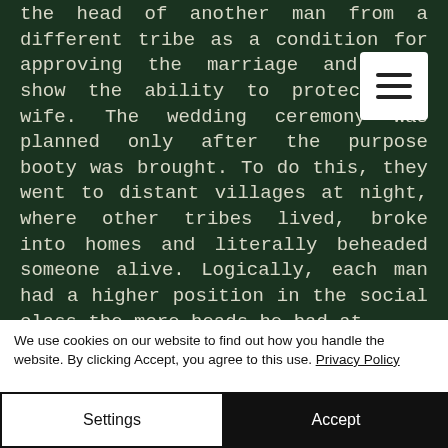[Figure (screenshot): Dark green background with white/cream serif monospace text reading a passage about tribal customs involving bringing heads from other tribes as a condition for marriage approval.]
We use cookies on our website to find out how you handle the website. By clicking Accept, you agree to this use. Privacy Policy
Settings
Accept